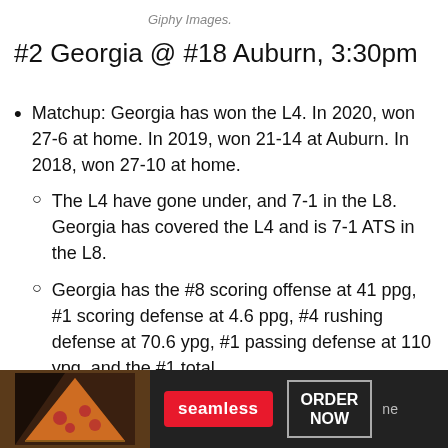Giphy Images.
#2 Georgia @ #18 Auburn, 3:30pm
Matchup: Georgia has won the L4. In 2020, won 27-6 at home. In 2019, won 21-14 at Auburn. In 2018, won 27-10 at home.
The L4 have gone under, and 7-1 in the L8. Georgia has covered the L4 and is 7-1 ATS in the L8.
Georgia has the #8 scoring offense at 41 ppg, #1 scoring defense at 4.6 ppg, #4 rushing defense at 70.6 ypg, #1 passing defense at 110 ypg, and the #1 total
[Figure (photo): Seamless food delivery advertisement banner showing pizza slices on dark background with Seamless logo and ORDER NOW button]